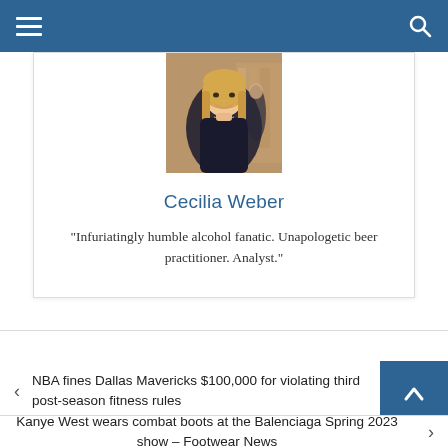Navigation header bar
[Figure (photo): Profile photo of Cecilia Weber, a blonde woman smiling, taken in what appears to be a store or restaurant interior]
Cecilia Weber
“Infuriatingly humble alcohol fanatic. Unapologetic beer practitioner. Analyst.”
NBA fines Dallas Mavericks $100,000 for violating third post-season fitness rules
Kanye West wears combat boots at the Balenciaga Spring 2023 show – Footwear News